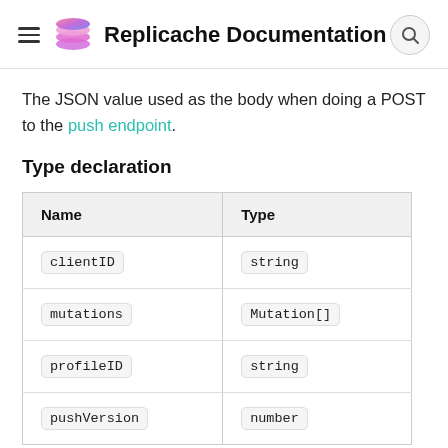Replicache Documentation
The JSON value used as the body when doing a POST to the push endpoint.
Type declaration
| Name | Type |
| --- | --- |
| clientID | string |
| mutations | Mutation[] |
| profileID | string |
| pushVersion | number |